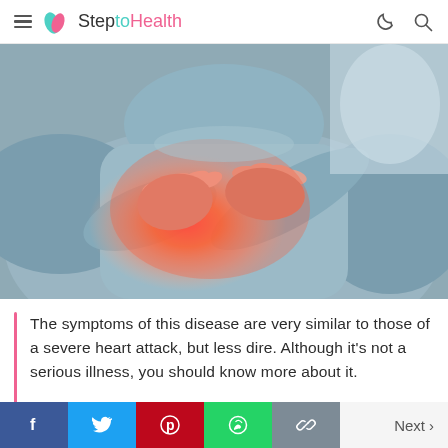SteptoHealth
[Figure (photo): Person clutching chest with both hands, with red highlight over the chest/heart area indicating pain, on a blue-grey toned background.]
The symptoms of this disease are very similar to those of a severe heart attack, but less dire. Although it's not a serious illness, you should know more about it.
Next >